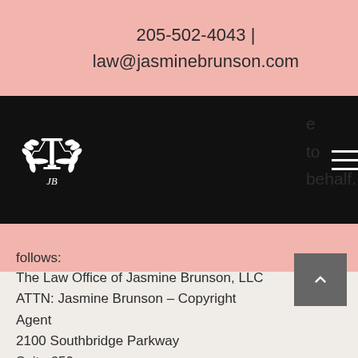205-502-4043 | law@jasminebrunson.com
[Figure (logo): Jasmine Brunson Law logo — scales of justice with wreath emblem on black background, initials JB below]
follows:
The Law Office of Jasmine Brunson, LLC
ATTN: Jasmine Brunson – Copyright Agent
2100 Southbridge Parkway
Suite 650
Birmingham, AL 35209
USA
Counter-Notice:
If you believe that a notice of copyright infringement has been improperly submitted against you, you may